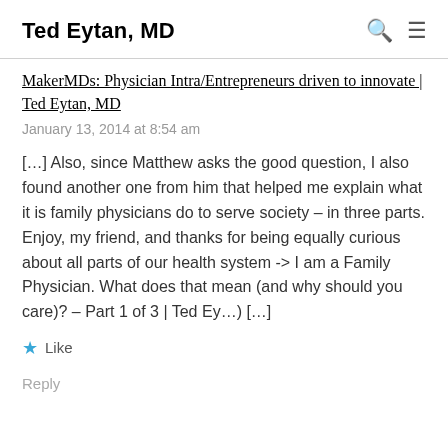Ted Eytan, MD
MakerMDs: Physician Intra/Entrepreneurs driven to innovate | Ted Eytan, MD
January 13, 2014 at 8:54 am
[…] Also, since Matthew asks the good question, I also found another one from him that helped me explain what it is family physicians do to serve society – in three parts. Enjoy, my friend, and thanks for being equally curious about all parts of our health system -> I am a Family Physician. What does that mean (and why should you care)? – Part 1 of 3 | Ted Ey…) […]
Like
Reply